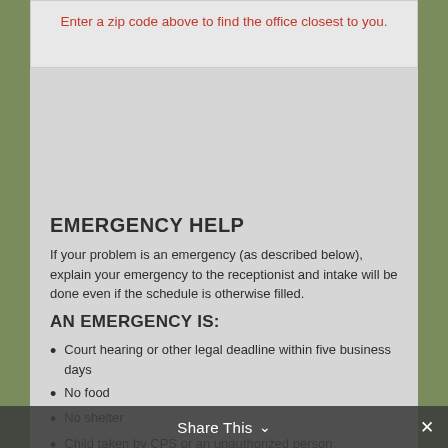Enter a zip code above to find the office closest to you.
EMERGENCY HELP
If your problem is an emergency (as described below), explain your emergency to the receptionist and intake will be done even if the schedule is otherwise filled.
AN EMERGENCY IS:
Court hearing or other legal deadline within five business days
No food
No shelter
Child taken by CPS or an unauthorized person
No utilities
A victim of domestic violence with a safety issue
Share This ∨  ✕